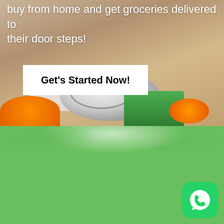[Figure (photo): Photo of a cardboard box containing grocery items: a metal can with silver lid visible from above, green can label, orange items (possibly oranges or packaged goods), and a white bag/packet. The top portion shows text overlaid on the photo.]
buy from home and get groceries delivered to their door steps!
Get's Started Now!
[Figure (illustration): Green watercolor-style background section at the bottom half of the page with a WhatsApp logo icon in the bottom right corner.]